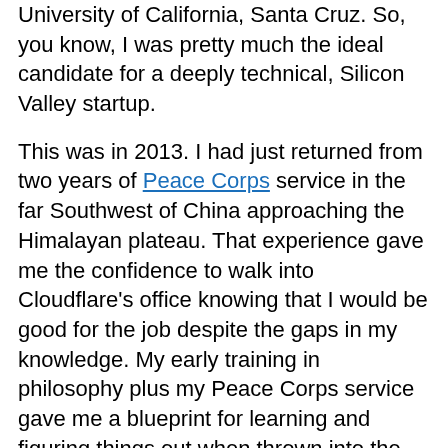University of California, Santa Cruz. So, you know, I was pretty much the ideal candidate for a deeply technical, Silicon Valley startup.
This was in 2013. I had just returned from two years of Peace Corps service in the far Southwest of China approaching the Himalayan plateau. That experience gave me the confidence to walk into Cloudflare's office knowing that I would be good for the job despite the gaps in my knowledge. My early training in philosophy plus my Peace Corps service gave me a blueprint for learning and figuring things out when thrown into the deep end (it turns out that I love being thrown into